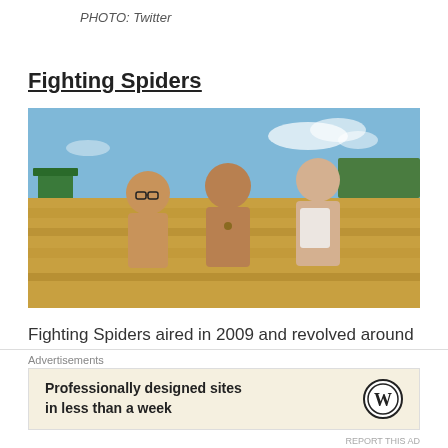PHOTO: Twitter
Fighting Spiders
[Figure (photo): Three young boys posing outdoors in a golden grassfield with a blue sky background. The boys are shirtless or partially clothed, posing together.]
Fighting Spiders aired in 2009 and revolved around three young boys who lived in the 1960s and their quest to find the King Spider.
Advertisements
Professionally designed sites in less than a week